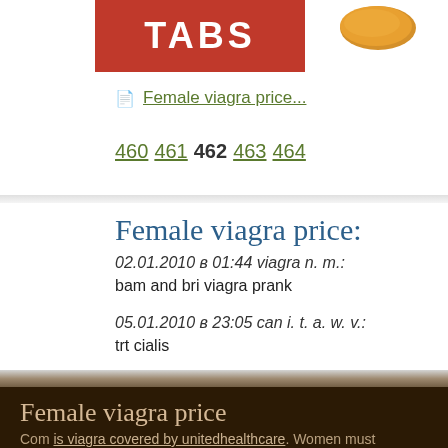[Figure (other): Red banner box with white bold text TABS, and a pill/tablet image on the right side]
Female viagra price...
460 461 462 463 464
Female viagra price:
02.01.2010 в 01:44 viagra n. m.:
bam and bri viagra prank
05.01.2010 в 23:05 can i. t. a. w. v.:
trt cialis
Female viagra price
Com is viagra covered by unitedhealthcare. Women must additionally avoid taking